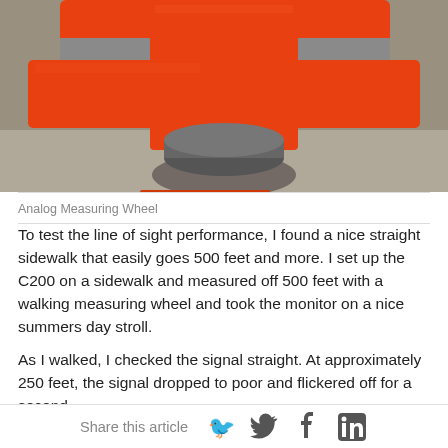[Figure (photo): Close-up photo of an orange analog measuring wheel device on a concrete surface, viewed from above/front showing the red/orange body and a cylindrical roller at the bottom.]
Analog Measuring Wheel
To test the line of sight performance, I found a nice straight sidewalk that easily goes 500 feet and more. I set up the C200 on a sidewalk and measured off 500 feet with a walking measuring wheel and took the monitor on a nice summers day stroll.
As I walked, I checked the signal straight. At approximately 250 feet, the signal dropped to poor and flickered off for a second
Share this article